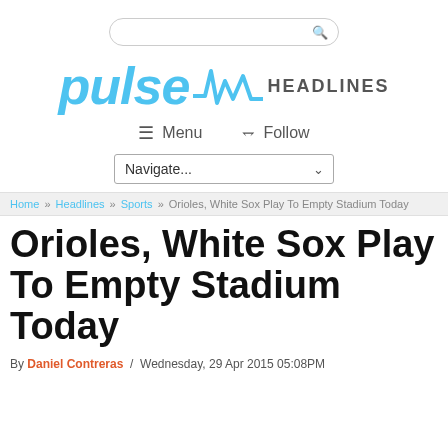[Figure (logo): Pulse Headlines logo with search bar, menu and follow navigation, and navigate dropdown]
Home » Headlines » Sports » Orioles, White Sox Play To Empty Stadium Today
Orioles, White Sox Play To Empty Stadium Today
By Daniel Contreras / Wednesday, 29 Apr 2015 05:08PM